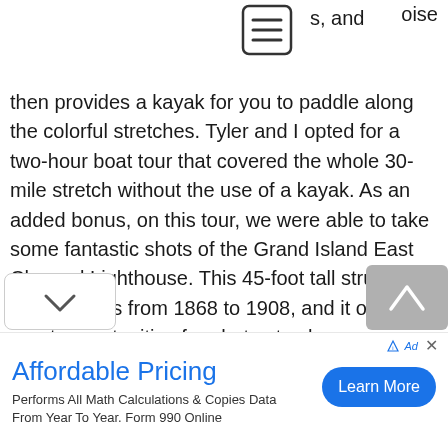[Figure (other): Hamburger menu icon (three horizontal lines in a rounded rectangle border)]
oise s, and then provides a kayak for you to paddle along the colorful stretches. Tyler and I opted for a two-hour boat tour that covered the whole 30-mile stretch without the use of a kayak. As an added bonus, on this tour, we were able to take some fantastic shots of the Grand Island East Channel Lighthouse. This 45-foot tall structure guided ships from 1868 to 1908, and it offers great opportunities for photos to show your friends. Not having too many campgrounds to
[Figure (other): Down chevron navigation button on left, up chevron/arrow navigation button on right (gray background)]
[Figure (other): Advertisement banner: Affordable Pricing - Performs All Math Calculations & Copies Data From Year To Year. Form 990 Online. Learn More button.]